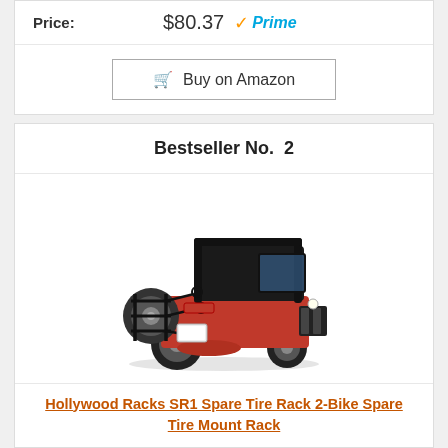Price: $80.37 ✓Prime
Buy on Amazon
Bestseller No. 2
[Figure (photo): Red Jeep with Hollywood Racks SR1 bike rack mounted on spare tire at back]
Hollywood Racks SR1 Spare Tire Rack 2-Bike Spare Tire Mount Rack